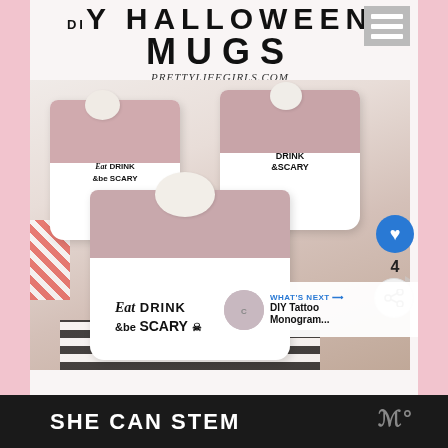[Figure (screenshot): Screenshot of a blog webpage showing DIY Halloween Mugs post from prettylifegirls.com, featuring white ceramic mugs with 'Eat Drink & Be Scary' text and marshmallows on top of pink hot cocoa. Hamburger menu icon in top right. Heart button with count 4 and share button on right side. 'What's Next' overlay in bottom right showing DIY Tattoo Monogram link.]
SHE CAN STEM
[Figure (logo): Ad banner logo mark in grey on dark background]